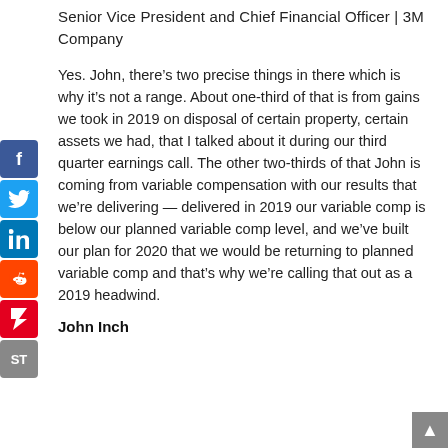Senior Vice President and Chief Financial Officer | 3M Company
Yes. John, there’s two precise things in there which is why it’s not a range. About one-third of that is from gains we took in 2019 on disposal of certain property, certain assets we had, that I talked about it during our third quarter earnings call. The other two-thirds of that John is coming from variable compensation with our results that we’re delivering — delivered in 2019 our variable comp is below our planned variable comp level, and we’ve built our plan for 2020 that we would be returning to planned variable comp and that’s why we’re calling that out as a 2019 headwind.
John Inch